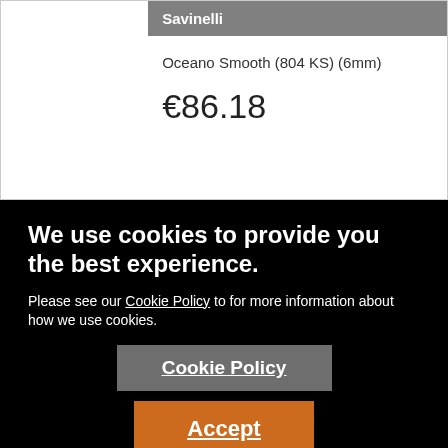|  | Savinelli |
| --- | --- |
|  | Oceano Smooth (804 KS) (6mm) |
|  | €86.18 |
We use cookies to provide you the best experience.
Please see our Cookie Policy to for more information about how we use cookies.
Cookie Policy
Accept